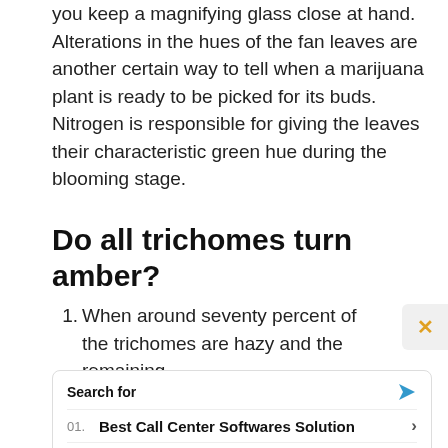you keep a magnifying glass close at hand. Alterations in the hues of the fan leaves are another certain way to tell when a marijuana plant is ready to be picked for its buds. Nitrogen is responsible for giving the leaves their characteristic green hue during the blooming stage.
Do all trichomes turn amber?
1. When around seventy percent of the trichomes are hazy and the remaining
[Figure (infographic): Yahoo Search sponsored ad box with 'Search for' label and two search result entries: 01. Best Call Center Softwares Solution and 02. Top EHR Mental Health Software, with Yahoo! Search | Sponsored footer]